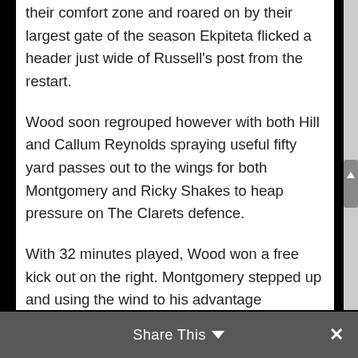their comfort zone and roared on by their largest gate of the season Ekpiteta flicked a header just wide of Russell's post from the restart.
Wood soon regrouped however with both Hill and Callum Reynolds spraying useful fifty yard passes out to the wings for both Montgomery and Ricky Shakes to heap pressure on The Clarets defence.
With 32 minutes played, Wood won a free kick out on the right. Montgomery stepped up and using the wind to his advantage delivered the perfect cross that curled dangerously towards the far post. It was guided home beyond Lovelock by the slightest of touches by Reynolds and Wood were in front again
Share This ∨  ×